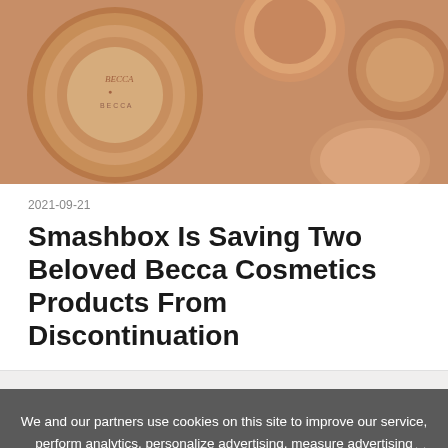[Figure (photo): Close-up photo of Becca Cosmetics makeup compacts and jars in copper/rose gold tones]
2021-09-21
Smashbox Is Saving Two Beloved Becca Cosmetics Products From Discontinuation
We and our partners use cookies on this site to improve our service, perform analytics, personalize advertising, measure advertising performance, and remember website preferences.
Ok